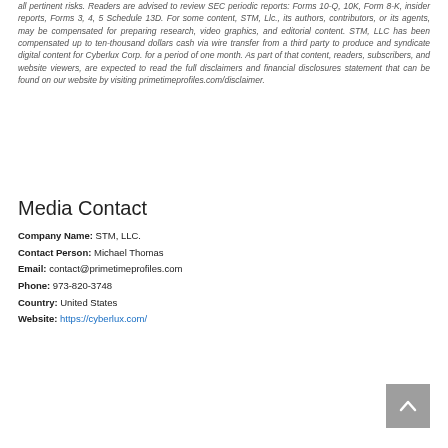all pertinent risks. Readers are advised to review SEC periodic reports: Forms 10-Q, 10K, Form 8-K, insider reports, Forms 3, 4, 5 Schedule 13D. For some content, STM, Llc., its authors, contributors, or its agents, may be compensated for preparing research, video graphics, and editorial content. STM, LLC has been compensated up to ten-thousand dollars cash via wire transfer from a third party to produce and syndicate digital content for Cyberlux Corp. for a period of one month. As part of that content, readers, subscribers, and website viewers, are expected to read the full disclaimers and financial disclosures statement that can be found on our website by visiting primetimeprofiles.com/disclaimer.
Media Contact
Company Name: STM, LLC.
Contact Person: Michael Thomas
Email: contact@primetimeprofiles.com
Phone: 973-820-3748
Country: United States
Website: https://cyberlux.com/